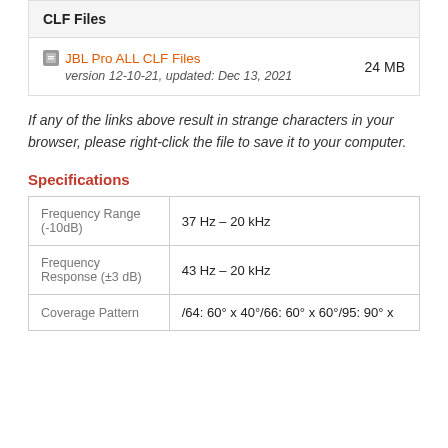CLF Files
JBL Pro ALL CLF Files
version 12-10-21, updated: Dec 13, 2021
24 MB
If any of the links above result in strange characters in your browser, please right-click the file to save it to your computer.
Specifications
| Frequency Range (-10dB) | 37 Hz – 20 kHz |
| Frequency Response (±3 dB) | 43 Hz – 20 kHz |
| Coverage Pattern | /64: 60° x 40°/66: 60° x 60°/95: 90° x |